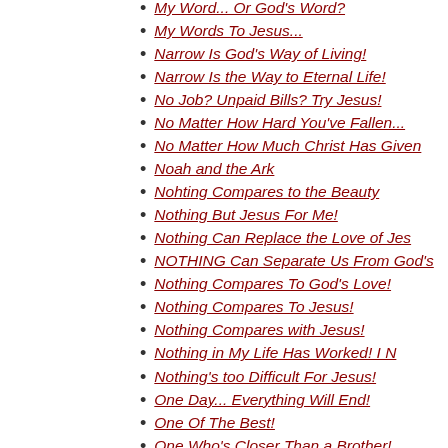My Word... Or God's Word?
My Words To Jesus...
Narrow Is God's Way of Living!
Narrow Is the Way to Eternal Life!
No Job? Unpaid Bills? Try Jesus!
No Matter How Hard You've Fallen...
No Matter How Much Christ Has Given
Noah and the Ark
Nohting Compares to the Beauty
Nothing But Jesus For Me!
Nothing Can Replace the Love of Jes
NOTHING Can Separate Us From God's
Nothing Compares To God's Love!
Nothing Compares To Jesus!
Nothing Compares with Jesus!
Nothing in My Life Has Worked! I N
Nothing's too Difficult For Jesus!
One Day... Everything Will End!
One Of The Best!
One Who's Closer Than a Brother!
Only Christ Can Bring True Hope!
Only Jesus Brings A Satisfying Rela
Only Jesus Brings Me Happiness!
Only Jesus Brings True Contentment!
Only Jesus Brings True Hope and Pea
Only Jesus Can Bring the Victory!
Only Jesus Can Satisfy My Soul!
Only Jesus Can Satisfy What People
Only Jesus Can Set Me Free!
Only Jesus Gives A Purpose and Hope
Only Jesus Gives TRUE Love!